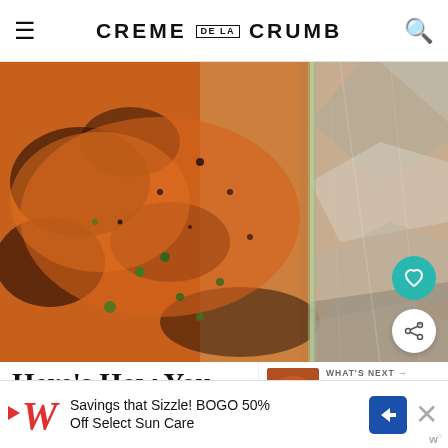CREME DE LA CRUMB
[Figure (photo): Close-up photo of glazed baked salmon with herbs in a foil-lined pan, showing caramelized orange-brown crust with green herb garnish]
Here's How You Ma…
WHAT'S NEXT → Sheet Pan Salmon and...
Are you ready to bake up the best baked salmon of your…
Savings that Sizzle! BOGO 50% Off Select Sun Care